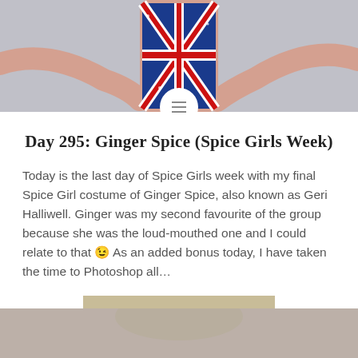[Figure (photo): Top portion of a person wearing a Union Jack (British flag) sequined dress, with arms outstretched, against a light gray background. A circular menu button overlay appears at the bottom center of the image.]
Day 295: Ginger Spice (Spice Girls Week)
Today is the last day of Spice Girls week with my final Spice Girl costume of Ginger Spice, also known as Geri Halliwell. Ginger was my second favourite of the group because she was the loud-mouthed one and I could relate to that 😉 As an added bonus today, I have taken the time to Photoshop all…
READ MORE
[Figure (photo): Bottom portion of another photo, cropped, showing a person against a light background.]